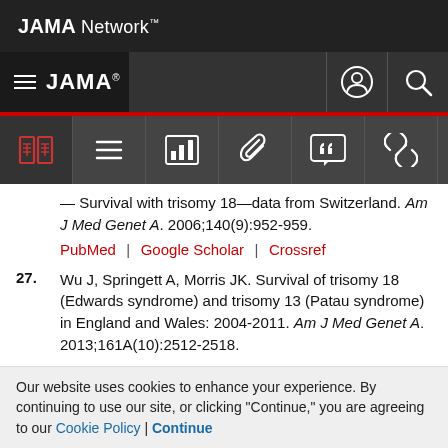JAMA Network
JAMA
Survival with trisomy 18—data from Switzerland. Am J Med Genet A. 2006;140(9):952-959. PubMed | Google Scholar | Crossref
27. Wu J, Springett A, Morris JK. Survival of trisomy 18 (Edwards syndrome) and trisomy 13 (Patau syndrome) in England and Wales: 2004-2011. Am J Med Genet A. 2013;161A(10):2512-2518.
Our website uses cookies to enhance your experience. By continuing to use our site, or clicking "Continue," you are agreeing to our Cookie Policy | Continue